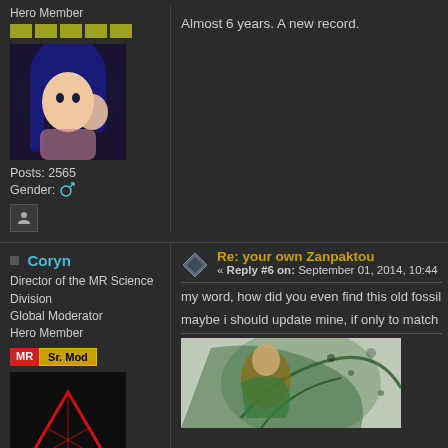Hero Member
[Figure (illustration): Rank bars: 5 gold/olive colored rectangular bars]
[Figure (photo): Anime avatar of a blue-haired female character with hand raised]
Posts: 2565
Gender: male icon
Almost 6 years. A new record.
Coryn
Director of the MR Science Division
Global Moderator
Hero Member
[Figure (logo): MR badge (red) and Sr. Mod badge (gold)]
[Figure (illustration): Black background with red triangle outline geometric logo]
Posts: 21407
Gender: male icon
Secretly a 13 year old girl
Re: your own Zanpaktou
« Reply #6 on: September 01, 2014, 10:44
my word, how did you even find this old fossil
maybe i should update mine, if only to match
[Figure (illustration): Anime character with green hair and dark robes, partial view]